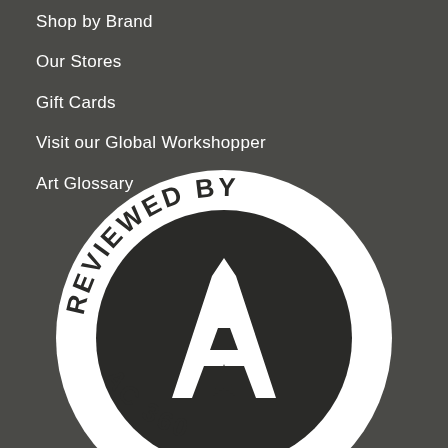Shop by Brand
Our Stores
Gift Cards
Visit our Global Workshopper
Art Glossary
[Figure (logo): Reviewed by Acad 360 circular badge logo. White outer ring with text 'REVIEWED BY' arched at top and 'AC' and '360' at bottom, surrounding a dark circular center containing a large letter A with a star cutout.]